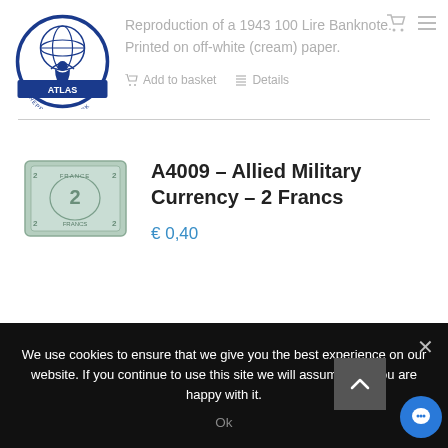[Figure (logo): Atlas Repro Paperwork circular logo with figure holding globe on blue and white background]
Reproduction of a 1943 100 Lire Banknote. Printed on off-white (cream) paper.
Add to basket   Details
A4009 – Allied Military Currency – 2 Francs
[Figure (photo): Photo of Allied Military Currency 2 Francs banknote, light blue-green color]
€ 0,40
We use cookies to ensure that we give you the best experience on our website. If you continue to use this site we will assume that you are happy with it.
Ok